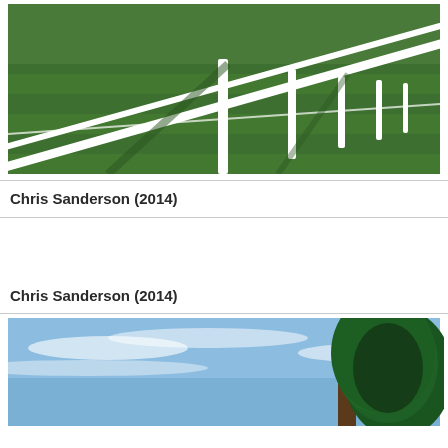[Figure (photo): A sports field with white painted fence rails and vertical white posts on green grass, photographed at an angle showing perspective depth with lane markings visible.]
Chris Sanderson (2014)
Chris Sanderson (2014)
[Figure (photo): A large evergreen tree (pine or similar) against a partly cloudy blue sky, photographed from below looking up at the canopy.]